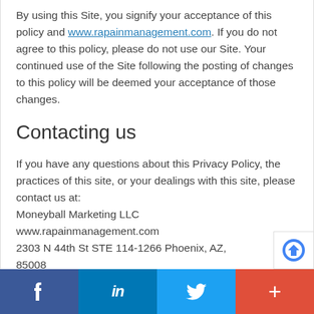By using this Site, you signify your acceptance of this policy and www.rapainmanagement.com. If you do not agree to this policy, please do not use our Site. Your continued use of the Site following the posting of changes to this policy will be deemed your acceptance of those changes.
Contacting us
If you have any questions about this Privacy Policy, the practices of this site, or your dealings with this site, please contact us at:
Moneyball Marketing LLC
www.rapainmanagement.com
2303 N 44th St STE 114-1266 Phoenix, AZ,
85008
[Figure (infographic): Social sharing footer bar with Facebook, LinkedIn, Twitter, and a plus button]